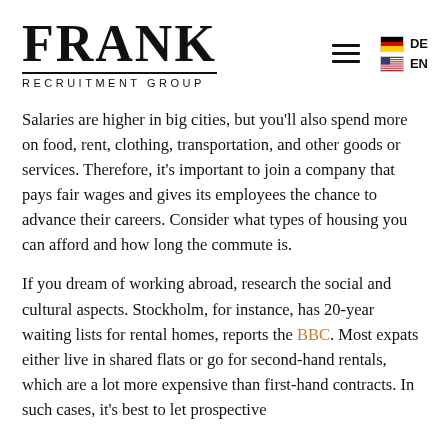[Figure (logo): Frank Recruitment Group logo with large serif FRANK text, horizontal rule, and RECRUITMENT GROUP subtitle in spaced uppercase sans-serif]
Salaries are higher in big cities, but you'll also spend more on food, rent, clothing, transportation, and other goods or services. Therefore, it's important to join a company that pays fair wages and gives its employees the chance to advance their careers. Consider what types of housing you can afford and how long the commute is.
If you dream of working abroad, research the social and cultural aspects. Stockholm, for instance, has 20-year waiting lists for rental homes, reports the BBC. Most expats either live in shared flats or go for second-hand rentals, which are a lot more expensive than first-hand contracts. In such cases, it's best to let prospective